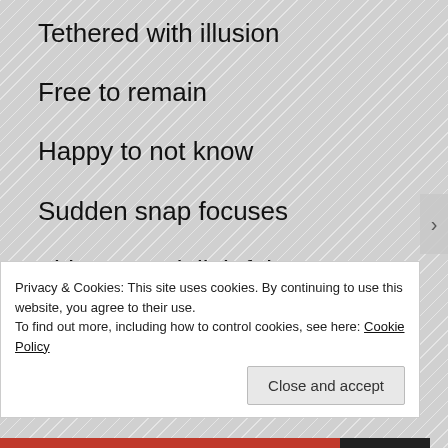Tethered with illusion
Free to remain
Happy to not know
Sudden snap focuses
Things are delightful
Ignorance is bliss
Riding the wind
Privacy & Cookies: This site uses cookies. By continuing to use this website, you agree to their use. To find out more, including how to control cookies, see here: Cookie Policy
Close and accept